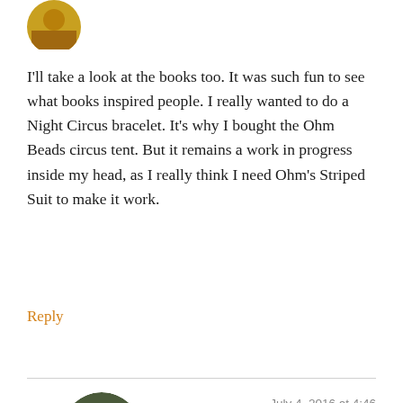[Figure (photo): Circular avatar image partially visible at top left]
I'll take a look at the books too. It was such fun to see what books inspired people. I really wanted to do a Night Circus bracelet. It's why I bought the Ohm Beads circus tent. But it remains a work in progress inside my head, as I really think I need Ohm's Striped Suit to make it work.
Reply
[Figure (photo): Circular avatar image of beads/jewelry for Tracy]
Tracy
July 4, 2016 at 4:46 PM
It was a great them – so many varied book choices :)